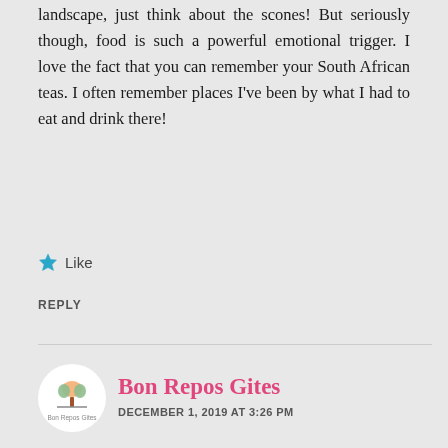landscape, just think about the scones! But seriously though, food is such a powerful emotional trigger. I love the fact that you can remember your South African teas. I often remember places I've been by what I had to eat and drink there!
Like
REPLY
Bon Repos Gites
DECEMBER 1, 2019 AT 3:26 PM
What a wonderful post – great photos too!
Like